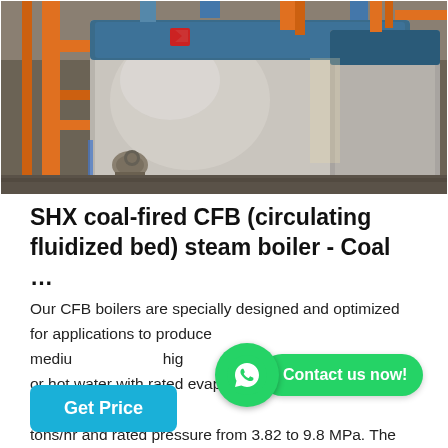[Figure (photo): Industrial boiler room with large stainless steel SHX coal-fired CFB steam boilers, orange pipe supports visible on the left, multiple units in a factory setting]
SHX coal-fired CFB (circulating fluidized bed) steam boiler - Coal …
Our CFB boilers are specially designed and optimized for applications to produce medium high pressure steam or hot water with rated evaporation capacity from 35 to 440 tons/hr and rated pressure from 3.82 to 9.8 MPa. The C…
Contact us now!
Get Price